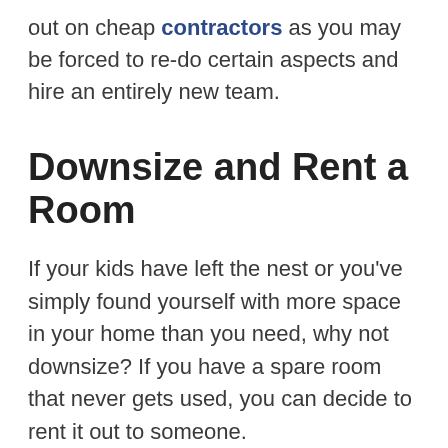out on cheap contractors as you may be forced to re-do certain aspects and hire an entirely new team.
Downsize and Rent a Room
If your kids have left the nest or you’ve simply found yourself with more space in your home than you need, why not downsize? If you have a spare room that never gets used, you can decide to rent it out to someone.
Depending on the size and structure